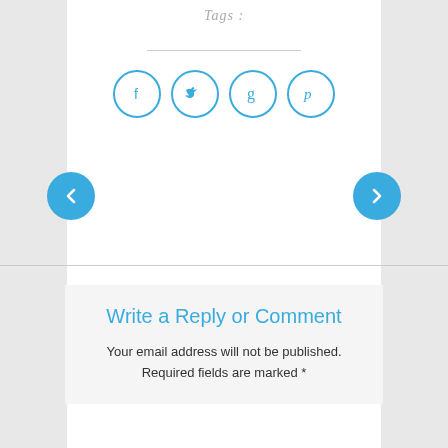Tags :
[Figure (infographic): Four social media icon circles: Facebook (f), Twitter (bird), Google+ (g), Pinterest (p), all in blue outline style]
[Figure (infographic): Left navigation arrow button (chevron left) in blue circle]
[Figure (infographic): Right navigation arrow button (chevron right) in blue circle]
Write a Reply or Comment
Your email address will not be published. Required fields are marked *